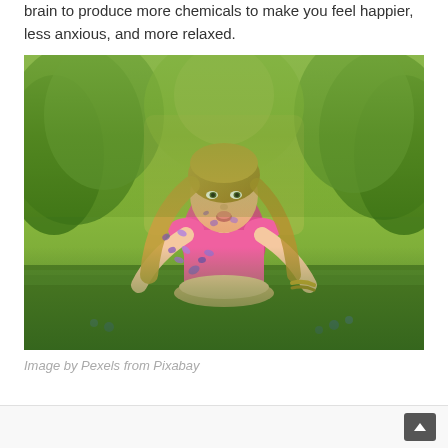brain to produce more chemicals to make you feel happier, less anxious, and more relaxed.
[Figure (photo): Young woman in a pink top kneeling in a field, blowing purple flower petals from her cupped hands toward the camera. Green trees visible in background. Soft bokeh outdoor setting.]
Image by Pexels from Pixabay